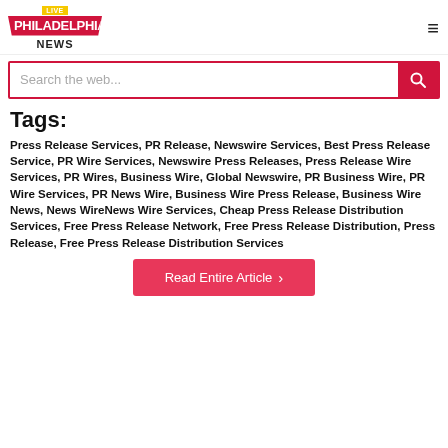PHILADELPHIA NEWS LIVE
Search the web...
Tags:
Press Release Services, PR Release, Newswire Services, Best Press Release Service, PR Wire Services, Newswire Press Releases, Press Release Wire Services, PR Wires, Business Wire, Global Newswire, PR Business Wire, PR Wire Services, PR News Wire, Business Wire Press Release, Business Wire News, News WireNews Wire Services, Cheap Press Release Distribution Services, Free Press Release Network, Free Press Release Distribution, Press Release, Free Press Release Distribution Services
Read Entire Article >